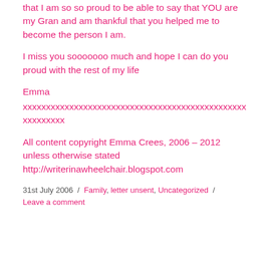that I am so so proud to be able to say that YOU are my Gran and am thankful that you helped me to become the person I am.
I miss you sooooooo much and hope I can do you proud with the rest of my life
Emma
xxxxxxxxxxxxxxxxxxxxxxxxxxxxxxxxxxxxxxxxxxxxxxxxxxxxxxxxx
All content copyright Emma Crees, 2006 – 2012 unless otherwise stated http://writerinawheelchair.blogspot.com
31st July 2006  /  Family, letter unsent, Uncategorized  /  Leave a comment